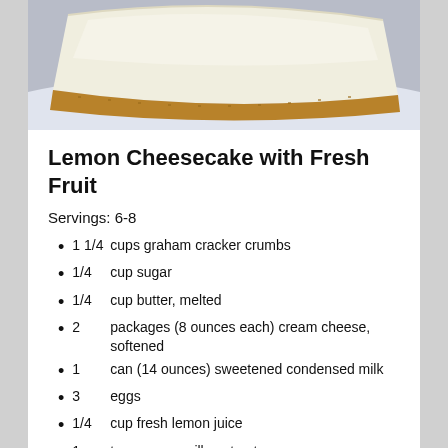[Figure (photo): A slice of lemon cheesecake with graham cracker crust on a white plate, photographed from above/side angle.]
Lemon Cheesecake with Fresh Fruit
Servings: 6-8
1 1/4    cups graham cracker crumbs
1/4        cup sugar
1/4        cup butter, melted
2            packages (8 ounces each) cream cheese, softened
1            can (14 ounces) sweetened condensed milk
3            eggs
1/4        cup fresh lemon juice
1            teaspoon vanilla extract